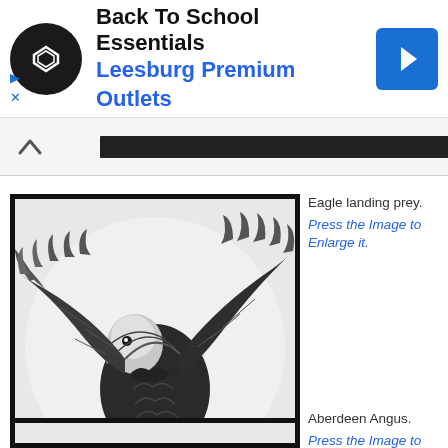[Figure (screenshot): Advertisement banner for Back To School Essentials at Leesburg Premium Outlets, with circular logo, blue navigation arrow icon, and small play/close controls]
[Figure (illustration): Detailed pencil drawing of a bald eagle landing with wings spread wide and talons extended, black and white illustration, black border frame]
Eagle landing prey. Press the Image to Enlarge it.
[Figure (photo): Bottom thumbnail image of Aberdeen Angus, partially visible, black border frame]
Aberdeen Angus. Press the Image to